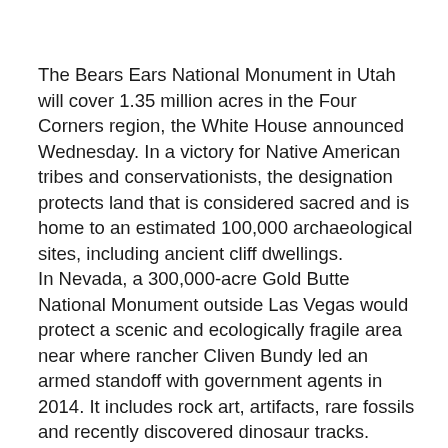The Bears Ears National Monument in Utah will cover 1.35 million acres in the Four Corners region, the White House announced Wednesday. In a victory for Native American tribes and conservationists, the designation protects land that is considered sacred and is home to an estimated 100,000 archaeological sites, including ancient cliff dwellings.
In Nevada, a 300,000-acre Gold Butte National Monument outside Las Vegas would protect a scenic and ecologically fragile area near where rancher Cliven Bundy led an armed standoff with government agents in 2014. It includes rock art, artifacts, rare fossils and recently discovered dinosaur tracks.
The White House and conservationists said both sites